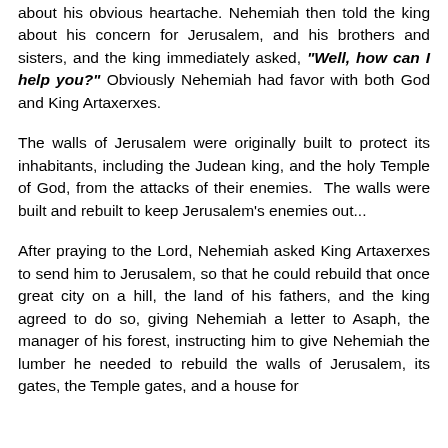about his obvious heartache. Nehemiah then told the king about his concern for Jerusalem, and his brothers and sisters, and the king immediately asked, "Well, how can I help you?" Obviously Nehemiah had favor with both God and King Artaxerxes.
The walls of Jerusalem were originally built to protect its inhabitants, including the Judean king, and the holy Temple of God, from the attacks of their enemies. The walls were built and rebuilt to keep Jerusalem's enemies out...
After praying to the Lord, Nehemiah asked King Artaxerxes to send him to Jerusalem, so that he could rebuild that once great city on a hill, the land of his fathers, and the king agreed to do so, giving Nehemiah a letter to Asaph, the manager of his forest, instructing him to give Nehemiah the lumber he needed to rebuild the walls of Jerusalem, its gates, the Temple gates, and a house for